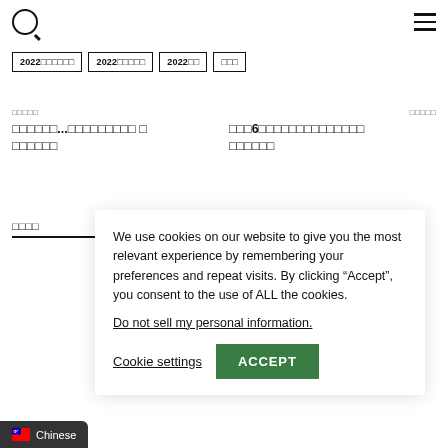Navigation bar with search icon and hamburger menu
2022□□□□□□  2022□□□□□  2022□□  □□□
□□□□□  □□□□□□...□□□□□□□□□ □  □□□□□□
□□□□□  □□□6□□□□□□□□□□□□□□□□  □□□□□□
□□□□
We use cookies on our website to give you the most relevant experience by remembering your preferences and repeat visits. By clicking “Accept”, you consent to the use of ALL the cookies.
Do not sell my personal information.
Cookie settings   ACCEPT
Chinese